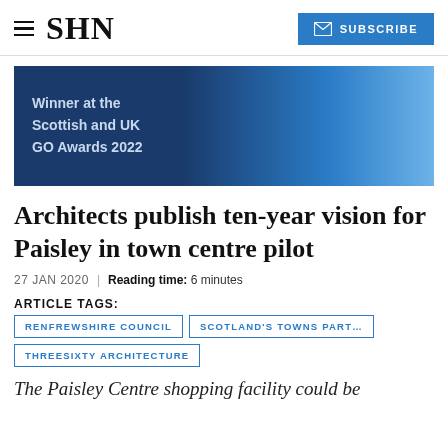SHN | SUBSCRIBE
[Figure (illustration): Dark blue gradient banner reading: Winner at the Scottish and UK GO Awards 2022]
Architects publish ten-year vision for Paisley in town centre pilot
27 JAN 2020 | Reading time: 6 minutes
ARTICLE TAGS:
RENFREWSHIRE COUNCIL
SCOTLAND'S TOWNS PART…
THREESIXTY ARCHITECTURE
The Paisley Centre shopping facility could be